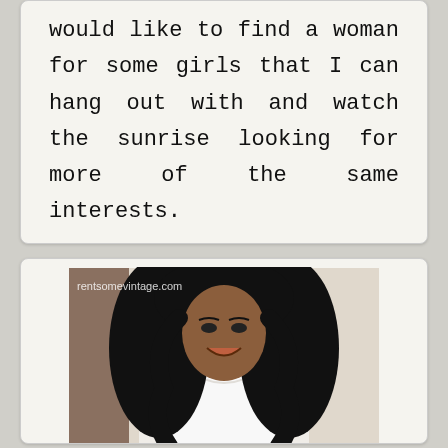would like to find a woman for some girls that I can hang out with and watch the sunrise looking for more of the same interests.
[Figure (photo): Portrait photo of a woman with long black wavy hair, wearing a white low-cut top, smiling at the camera. Watermark text 'rentsomevintage.com' visible in upper left of image.]